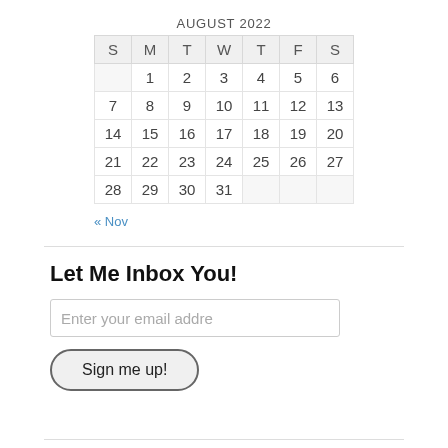AUGUST 2022
| S | M | T | W | T | F | S |
| --- | --- | --- | --- | --- | --- | --- |
|  | 1 | 2 | 3 | 4 | 5 | 6 |
| 7 | 8 | 9 | 10 | 11 | 12 | 13 |
| 14 | 15 | 16 | 17 | 18 | 19 | 20 |
| 21 | 22 | 23 | 24 | 25 | 26 | 27 |
| 28 | 29 | 30 | 31 |  |  |  |
« Nov
Let Me Inbox You!
Enter your email addre
Sign me up!